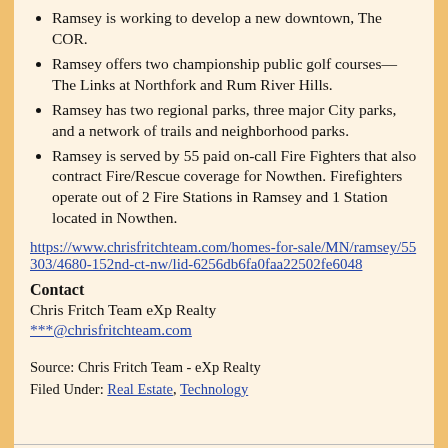Ramsey is working to develop a new downtown, The COR.
Ramsey offers two championship public golf courses—The Links at Northfork and Rum River Hills.
Ramsey has two regional parks, three major City parks, and a network of trails and neighborhood parks.
Ramsey is served by 55 paid on-call Fire Fighters that also contract Fire/Rescue coverage for Nowthen. Firefighters operate out of 2 Fire Stations in Ramsey and 1 Station located in Nowthen.
https://www.chrisfritchteam.com/homes-for-sale/MN/ramsey/55303/4680-152nd-ct-nw/lid-6256db6fa0faa22502fe6048
Contact
Chris Fritch Team eXp Realty
***@chrisfritchteam.com
Source: Chris Fritch Team - eXp Realty
Filed Under: Real Estate, Technology